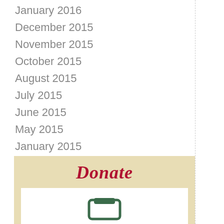January 2016
December 2015
November 2015
October 2015
August 2015
July 2015
June 2015
May 2015
January 2015
February 2014
[Figure (other): Donate section with cursive red Donate heading on a beige background, with a white inner box containing a green icon at the bottom of the page]